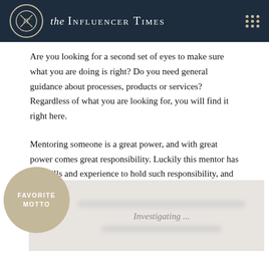the Influencer Times
Are you looking for a second set of eyes to make sure what you are doing is right? Do you need general guidance about processes, products or services? Regardless of what you are looking for, you will find it right here.
Mentoring someone is a great power, and with great power comes great responsibility. Luckily this mentor has the skills and experience to hold such responsibility, and mentor others in an effective and efficient way.
[Figure (infographic): A circular badge with text 'FAVORITE MOTTO' on a beige/tan background, overlapping a light gray banner. The banner contains blurred text lines and the centered text 'Investigating ...']